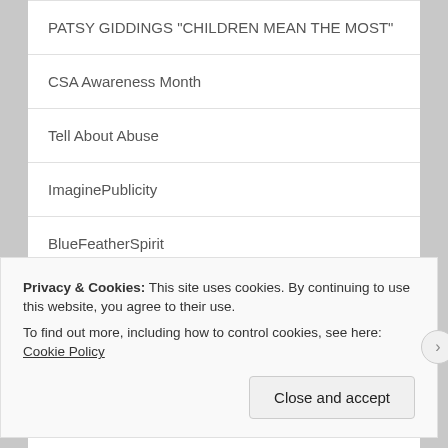PATSY GIDDINGS "CHILDREN MEAN THE MOST"
CSA Awareness Month
Tell About Abuse
ImaginePublicity
BlueFeatherSpirit
ShevaBurton. Cross of Change Blog
Broken Until Spoken
Privacy & Cookies: This site uses cookies. By continuing to use this website, you agree to their use.
To find out more, including how to control cookies, see here: Cookie Policy
Close and accept